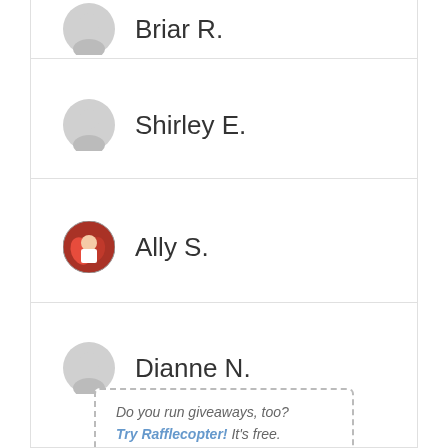Briar R.
Shirley E.
Ally S.
Dianne N.
Do you run giveaways, too? Try Rafflecopter! It's free.